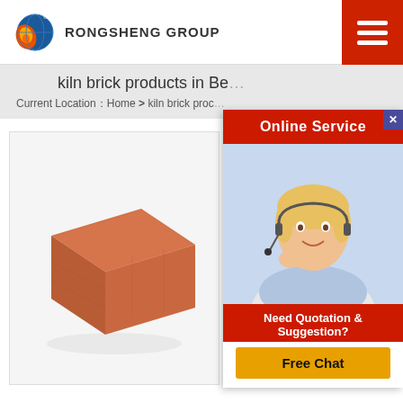[Figure (logo): Rongsheng Group logo with flame and globe icon]
RONGSHENG GROUP
kiln brick products in Be...
Current Location：Home > kiln brick proc...
[Figure (photo): A terracotta/red kiln brick shown in 3D perspective view against white background]
2 2...
And...
the c...
main gas moving fan it pulls the
[Figure (photo): Online Service popup with female customer service agent wearing headset]
Online Service
Need Quotation & Suggestion?
Free Chat
Get Price